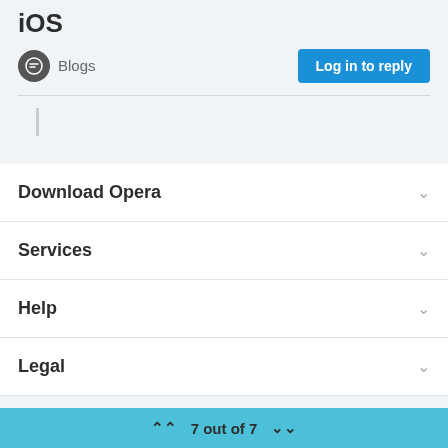iOS
Blogs
Log in to reply
Download Opera
Services
Help
Legal
7 out of 7